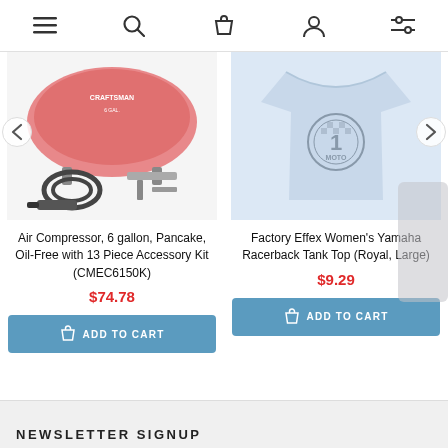Navigation bar with menu, search, cart, account, and filter icons
[Figure (photo): Craftsman Air Compressor 6 gallon pancake product image with accessories]
Air Compressor, 6 gallon, Pancake, Oil-Free with 13 Piece Accessory Kit (CMEC6150K)
$74.78
ADD TO CART
[Figure (photo): Factory Effex Women's Yamaha Racerback Tank Top light blue shirt]
Factory Effex Women's Yamaha Racerback Tank Top (Royal, Large)
$9.29
ADD TO CART
NEWSLETTER SIGNUP